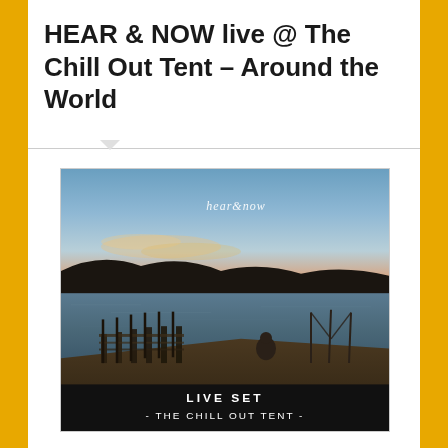HEAR & NOW live @ The Chill Out Tent – Around the World
[Figure (photo): Album cover for 'hear&now' showing a twilight scene with a wooden dock/pier extending into a calm body of water, hills in the background, a figure seated on the dock, and another figure with what appears to be equipment. The bottom of the image has a dark band with text: 'LIVE SET - THE CHILL OUT TENT -'. The artist name 'hear&now' appears in white script text in the upper portion of the image.]